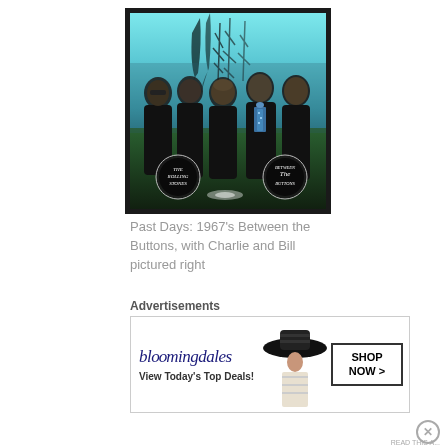[Figure (photo): Album cover of The Rolling Stones' 'Between the Buttons' (1967). Five band members posed outdoors against a blurred teal/blue sky with bare tree silhouettes. Members wear dark clothing; one wears a blue polka-dot tie. Two circular logos visible at bottom: 'The Rolling Stones' on the left and 'Between the Buttons' on the right. Heavy dark border around the image.]
Past Days: 1967's Between the Buttons, with Charlie and Bill pictured right
Advertisements
[Figure (other): Bloomingdale's advertisement banner. Shows 'bloomingdales' logo in blue italic serif font, tagline 'View Today's Top Deals!', a stylized model photo wearing a large hat, and a 'SHOP NOW >' button in a bordered box.]